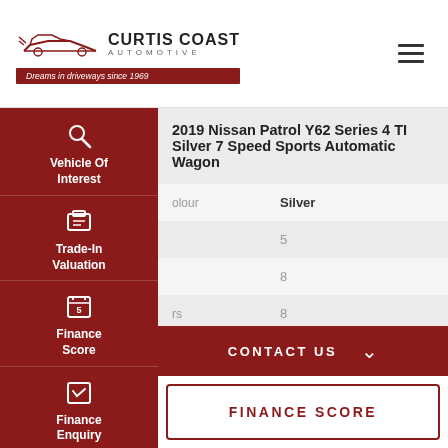[Figure (logo): Curtis Coast Automotive logo with car silhouette and tagline 'Dreams in driveways since 1969']
| Field | Value |
| --- | --- |
| Vehicle | 2019 Nissan Patrol Y62 Series 4 TI Silver 7 Speed Sports Automatic Wagon |
| Colour | Silver |
|  | 5 |
|  | 8 |
| rs | 8 |
| be | Petrol - Premium ULP |
|  | 5.6 |
CONTACT US
FINANCE SCORE